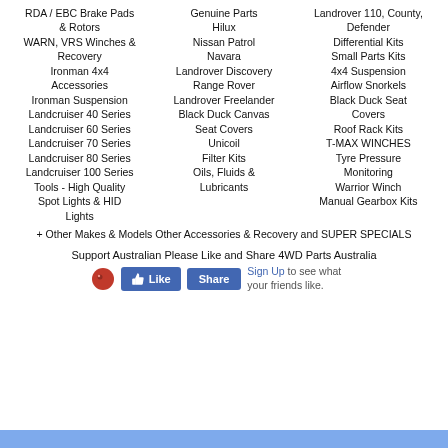RDA / EBC Brake Pads & Rotors
WARN, VRS Winches & Recovery
Ironman 4x4
Accessories
Ironman Suspension
Landcruiser 40 Series
Landcruiser 60 Series
Landcruiser 70 Series
Landcruiser 80 Series
Landcruiser 100 Series
Tools - High Quality
Spot Lights & HID Lights
Genuine Parts
Hilux
Nissan Patrol
Navara
Landrover Discovery
Range Rover
Landrover Freelander
Black Duck Canvas Seat Covers
Unicoil
Filter Kits
Oils, Fluids & Lubricants
Landrover 110, County, Defender
Differential Kits
Small Parts Kits
4x4 Suspension
Airflow Snorkels
Black Duck Seat Covers
Roof Rack Kits
T-MAX WINCHES
Tyre Pressure Monitoring
Warrior Winch
Manual Gearbox Kits
+ Other Makes & Models Other Accessories & Recovery and SUPER SPECIALS
Support Australian Please Like and Share 4WD Parts Australia